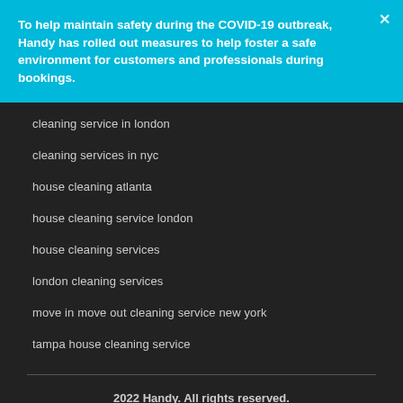To help maintain safety during the COVID-19 outbreak, Handy has rolled out measures to help foster a safe environment for customers and professionals during bookings.
cleaning service in london
cleaning services in nyc
house cleaning atlanta
house cleaning service london
house cleaning services
london cleaning services
move in move out cleaning service new york
tampa house cleaning service
2022 Handy. All rights reserved. Contact Privacy CA Pre-Collection Notice Do Not Sell Cookies Terms Cancellation Policy Accessibility Tools